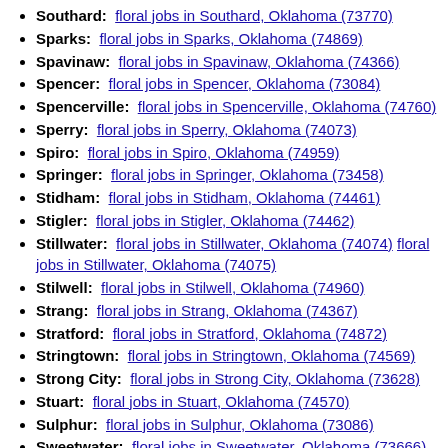Southard: floral jobs in Southard, Oklahoma (73770)
Sparks: floral jobs in Sparks, Oklahoma (74869)
Spavinaw: floral jobs in Spavinaw, Oklahoma (74366)
Spencer: floral jobs in Spencer, Oklahoma (73084)
Spencerville: floral jobs in Spencerville, Oklahoma (74760)
Sperry: floral jobs in Sperry, Oklahoma (74073)
Spiro: floral jobs in Spiro, Oklahoma (74959)
Springer: floral jobs in Springer, Oklahoma (73458)
Stidham: floral jobs in Stidham, Oklahoma (74461)
Stigler: floral jobs in Stigler, Oklahoma (74462)
Stillwater: floral jobs in Stillwater, Oklahoma (74074) floral jobs in Stillwater, Oklahoma (74075)
Stilwell: floral jobs in Stilwell, Oklahoma (74960)
Strang: floral jobs in Strang, Oklahoma (74367)
Stratford: floral jobs in Stratford, Oklahoma (74872)
Stringtown: floral jobs in Stringtown, Oklahoma (74569)
Strong City: floral jobs in Strong City, Oklahoma (73628)
Stuart: floral jobs in Stuart, Oklahoma (74570)
Sulphur: floral jobs in Sulphur, Oklahoma (73086)
Sweetwater: floral jobs in Sweetwater, Oklahoma (73666)
Taft: floral jobs in Taft, Oklahoma (74463)
Tahlequah: floral jobs in Tahlequah, Oklahoma (74464)
Talala: floral jobs in Talala, Oklahoma (74080)
Talihina: floral jobs in Talihina, Oklahoma (74571)
Taloga: floral jobs in Taloga, Oklahoma (73667)